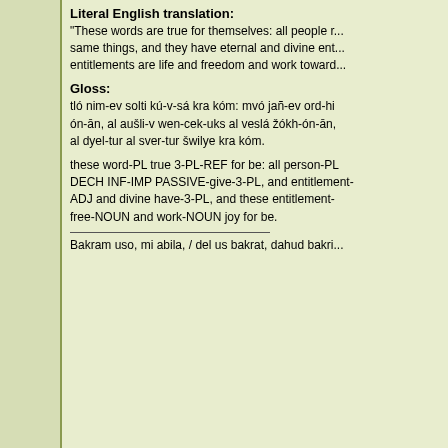Literal English translation:
"These words are true for themselves: all people r... same things, and they have eternal and divine ent... entitlements are life and freedom and work toward...
Gloss:
tló nim-ev solti kú-v-sá kra kóm: mvó jañ-ev ord-hi ón-ān, al aušli-v wen-cek-uks al veslá žókh-ón-ān, al dyel-tur al sver-tur šwilye kra kóm.
these word-PL true 3-PL-REF for be: all person-PL DECH INF-IMP PASSIVE-give-3-PL, and entitlement- ADJ and divine have-3-PL, and these entitlement- free-NOUN and work-NOUN joy for be.
Bakram uso, mi abila, / del us bakrat, dahud bakri...
Back to top
eldin raigmore
Admin
Joined: 03 May 2007
Posts: 1621
Location: SouthEast Michigan
Posted: Sun Nov 01, 2009 8:36 pm    Post subject:
Good, Hemicomputer! Thanks.
Can you write it in your conscript yet?
And, can you explain any concultural stuff about h...
different from the 18th-century American English v...
---------------
I think you can post either a recording of it or the ... or even both, on "the Thomas Jefferson Hour"'s 35... not, maybe the tlHiNaan site has a conlanger's ve... the linguistics thread in Note. Please, let me visit...